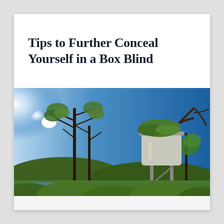Tips to Further Conceal Yourself in a Box Blind
[Figure (photo): Outdoor photograph of a hunting box blind elevated on metal stilts, surrounded by trees and dense vegetation under a bright blue sky with sun glare visible on the left side. Green foliage covers the top of the blind structure. A body of water is visible in the lower left background.]